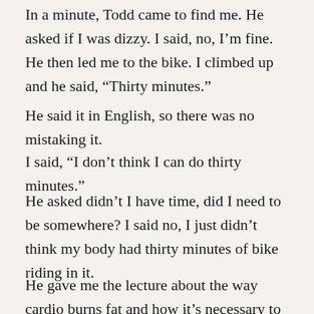In a minute, Todd came to find me. He asked if I was dizzy. I said, no, I'm fine. He then led me to the bike. I climbed up and he said, “Thirty minutes.”
He said it in English, so there was no mistaking it.
I said, “I don’t think I can do thirty minutes.”
He asked didn’t I have time, did I need to be somewhere? I said no, I just didn’t think my body had thirty minutes of bike riding in it.
He gave me the lecture about the way cardio burns fat and how it’s necessary to sustain the target heart